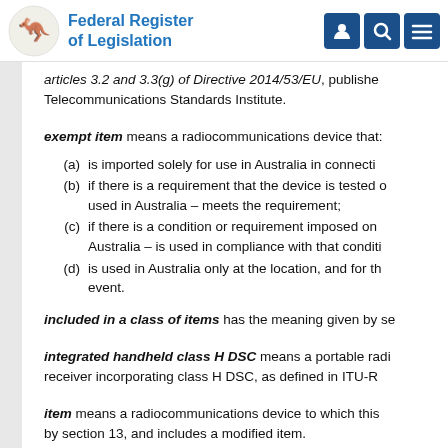Federal Register of Legislation
articles 3.2 and 3.3(g) of Directive 2014/53/EU, published by the European Telecommunications Standards Institute.
exempt item means a radiocommunications device that:
(a) is imported solely for use in Australia in connection with
(b) if there is a requirement that the device is tested or approved before it is used in Australia – meets the requirement;
(c) if there is a condition or requirement imposed on the device's use in Australia – is used in compliance with that condition or requirement;
(d) is used in Australia only at the location, and for the duration of the event.
included in a class of items has the meaning given by section
integrated handheld class H DSC means a portable radio receiver incorporating class H DSC, as defined in ITU-R
item means a radiocommunications device to which this instrument applies by section 13, and includes a modified item.
ITU-R Recommendation M.493 means the ITU-R Recommendation